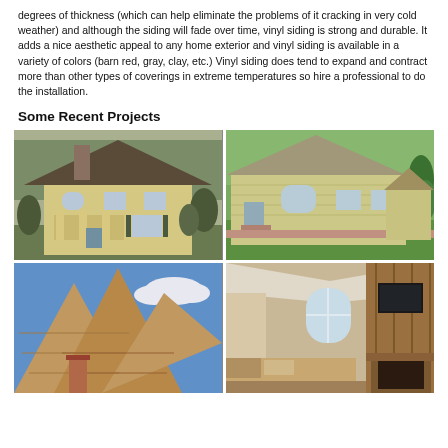degrees of thickness (which can help eliminate the problems of it cracking in very cold weather) and although the siding will fade over time, vinyl siding is strong and durable. It adds a nice aesthetic appeal to any home exterior and vinyl siding is available in a variety of colors (barn red, gray, clay, etc.) Vinyl siding does tend to expand and contract more than other types of coverings in extreme temperatures so hire a professional to do the installation.
Some Recent Projects
[Figure (photo): Photo of a large yellow colonial-style house with dark roof, surrounded by bare trees in winter, with a front porch and chimney]
[Figure (photo): Photo of a yellow vinyl-sided ranch house with white trim, arched windows, and a brick patio driveway, with green lawn and trees]
[Figure (photo): Photo of roofing shingles showing multiple peaked roof gables against a blue sky with clouds]
[Figure (photo): Photo of an interior bedroom with vaulted ceiling, arched window, wood-paneled entertainment center with TV and fireplace]